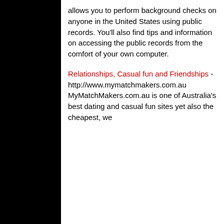allows you to perform background checks on anyone in the United States using public records. You'll also find tips and information on accessing the public records from the comfort of your own computer.
Relationships, Casual fun and Friendships - http://www.mymatchmakers.com.au MyMatchMakers.com.au is one of Australia's best dating and casual fun sites yet also the cheapest, we